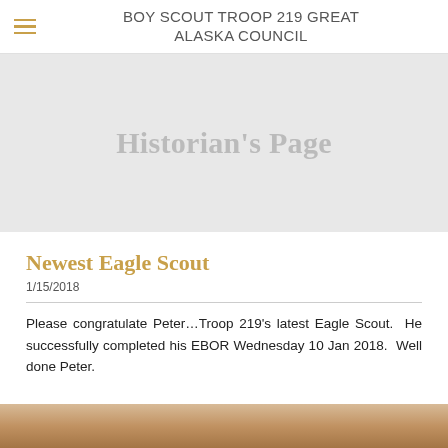BOY SCOUT TROOP 219 GREAT ALASKA COUNCIL
Historian's Page
Newest Eagle Scout
1/15/2018
Please congratulate Peter…Troop 219's latest Eagle Scout.  He successfully completed his EBOR Wednesday 10 Jan 2018.  Well done Peter.
[Figure (photo): Bottom strip showing the edge of a photo, likely of a scout or ceremony.]